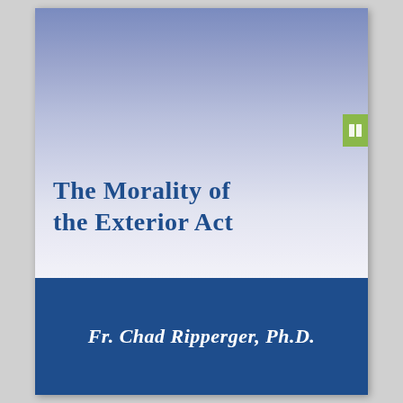The Morality of the Exterior Act
Fr. Chad Ripperger, Ph.D.